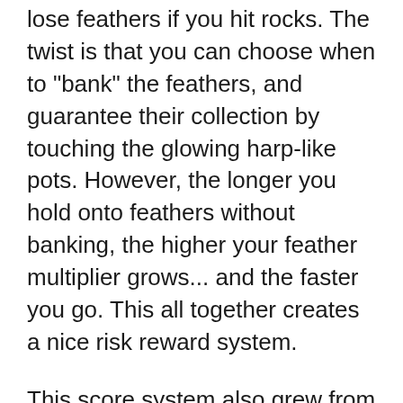lose feathers if you hit rocks. The twist is that you can choose when to "bank" the feathers, and guarantee their collection by touching the glowing harp-like pots. However, the longer you hold onto feathers without banking, the higher your feather multiplier grows... and the faster you go. This all together creates a nice risk reward system.
This score system also grew from the idea that this game doesn't have to be a difficult one and you can adjust your level of engagement if desired. You can play aggressive and fly fast and it's really challenging, or you can take it easy and explore at your own pace. You don't have to collect